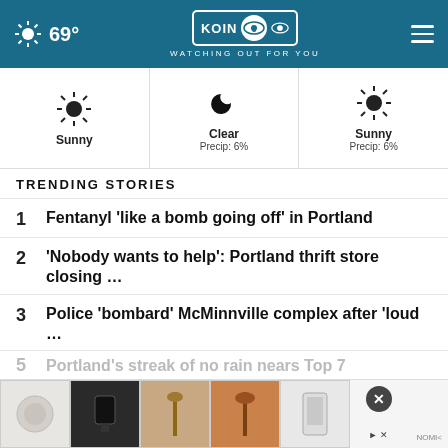69° KOIN 6 CBS WATCHING OUT FOR YOU
[Figure (infographic): Weather forecast row: Sunny (no precip), Clear Precip: 6%, Sunny Precip: 6%]
TRENDING STORIES
1  Fentanyl ‘like a bomb going off’ in Portland
2  ‘Nobody wants to help’: Portland thrift store closing …
3  Police ‘bombard’ McMinnville complex after ‘loud …
4  Man convicted in Portland kidnapping c…
5  Portland’s streak of no rain nears Top 7
[Figure (infographic): Advertisement banner with product images and close button]